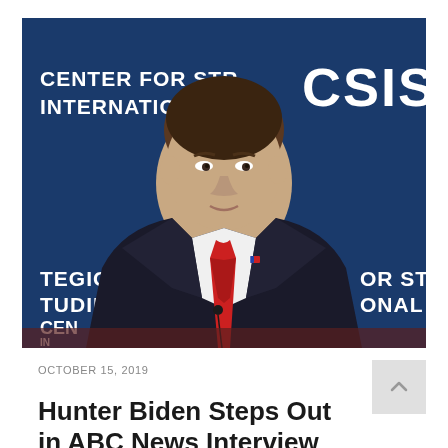[Figure (photo): A man in a dark suit and red tie seated at a conference table in front of a blue backdrop reading 'CENTER FOR STRATEGIC & INTERNATIONAL STUDIES' and 'CSIS']
OCTOBER 15, 2019
Hunter Biden Steps Out in ABC News Interview